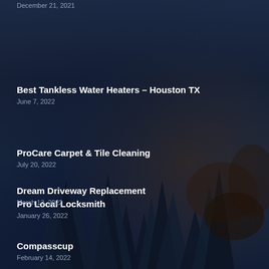December 21, 2021
Best Tankless Water Heaters – Houston TX
June 7, 2022
ProCare Carpet & Tile Cleaning
July 20, 2022
Pro Local Locksmith
January 26, 2022
Dream Driveway Replacement
March 13, 2022
Compasscup
February 14, 2022